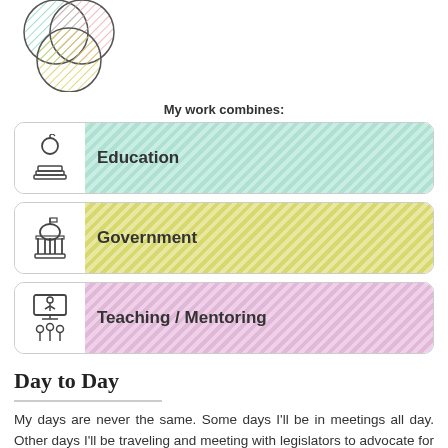[Figure (illustration): Venn diagram of three overlapping circles with diagonal line fills in teal, pink/red, and yellow colors]
My work combines:
[Figure (infographic): Three labeled category cards: Education (teal striped background, apple/books icon), Government (yellow striped background, capitol building icon), Teaching / Mentoring (pink striped background, teacher/students icon)]
Day to Day
My days are never the same. Some days I'll be in meetings all day. Other days I'll be traveling and meeting with legislators to advocate for the school district. I also spend time working with community members to make sure they know about all of the cool things happening in our school district. I have a team that works throughout all parts of the school district. I meet with